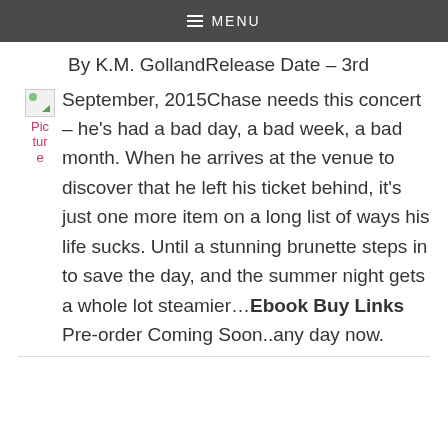MENU
By K.M. GollandRelease Date – 3rd September, 2015Chase needs this concert – he's had a bad day, a bad week, a bad month. When he arrives at the venue to discover that he left his ticket behind, it's just one more item on a long list of ways his life sucks. Until a stunning brunette steps in to save the day, and the summer night gets a whole lot steamier…Ebook Buy Links Pre-order Coming Soon..any day now.
[Figure (photo): Broken image placeholder with pink alt text reading 'Picture']